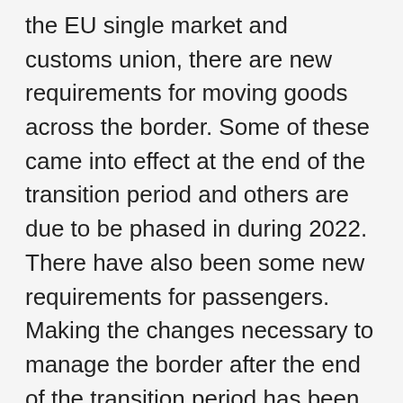the EU single market and customs union, there are new requirements for moving goods across the border. Some of these came into effect at the end of the transition period and others are due to be phased in during 2022. There have also been some new requirements for passengers. Making the changes necessary to manage the border after the end of the transition period has been the responsibility of several departments including the Cabinet Office; the Department for Environment, Food and Rural Affairs (Defra); HM Revenue & Customs (HMRC); the Home Office; and the Department for Transport (DfT). It has also required significant engagement from stakeholders outside government including the border industry, traders, hauliers and their representatives.